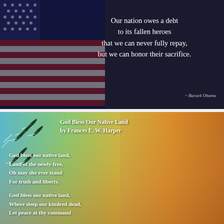[Figure (photo): Dark background with American flag on left side and white quote text on right: 'Our nation owes a debt to its fallen heroes that we can never fully repay, but we can honor their sacrifice.' attributed to Barack Obama]
[Figure (photo): Colorful patriotic background with military jets on left side and poem text. Poem titled 'God Bless Our Native Land by Frances E. W. Harper'. First stanza: 'God bless our native land, Land of the newly free, Oh may she ever stand For truth and liberty.' Second stanza begins: 'God bless our native land, Where sleep our kindred dead, Let peace at thy command']